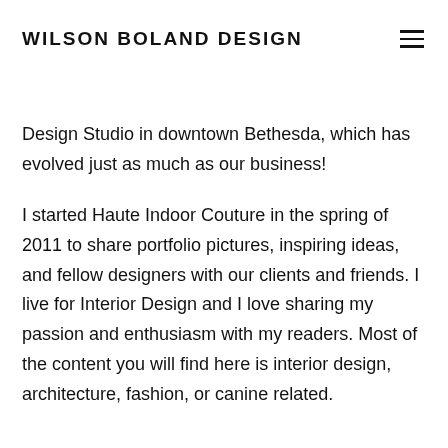WILSON BOLAND DESIGN
Design Studio in downtown Bethesda, which has evolved just as much as our business!
I started Haute Indoor Couture in the spring of 2011 to share portfolio pictures, inspiring ideas, and fellow designers with our clients and friends. I live for Interior Design and I love sharing my passion and enthusiasm with my readers. Most of the content you will find here is interior design, architecture, fashion, or canine related.